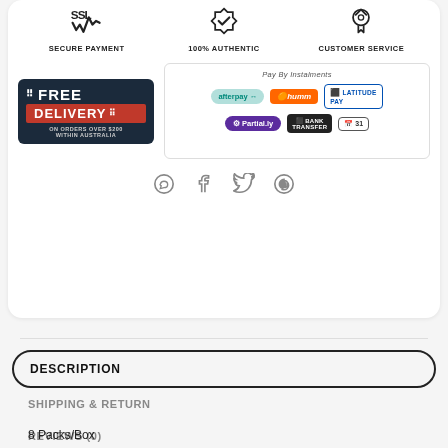[Figure (infographic): Three trust icons: SSL Secure Payment, 100% Authentic (shield with checkmark), Customer Service (medal/ribbon)]
SECURE PAYMENT
100% AUTHENTIC
CUSTOMER SERVICE
[Figure (infographic): Free Delivery badge: dark navy background with FREE in white and DELIVERY in red banner, text ON ORDERS OVER $200 WITHIN AUSTRALIA]
[Figure (infographic): Pay By Instalments box showing afterpay, humm, Latitude Pay, Partial.ly, Bank Transfer, and a calendar/31 payment badge logos]
[Figure (infographic): Social sharing icons: WhatsApp, Facebook, Twitter, Pinterest]
DESCRIPTION
SHIPPING & RETURN
REVIEWS (0)
8 Packs/Box